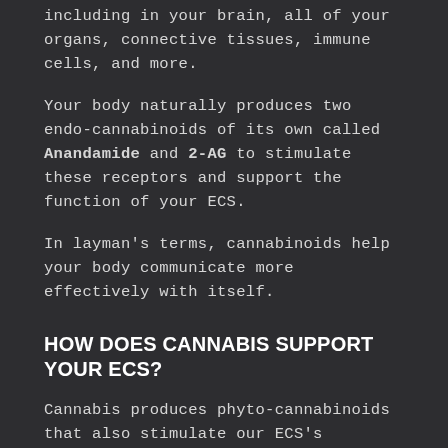including in your brain, all of your organs, connective tissues, immune cells, and more.
Your body naturally produces two endo-cannabinoids of its own called Anandamide and 2-AG to stimulate these receptors and support the function of your ECS.
In layman’s terms, cannabinoids help your body communicate more effectively with itself.
HOW DOES CANNABIS SUPPORT YOUR ECS?
Cannabis produces phyto-cannabinoids that also stimulate our ECS’s cannabinoid receptors. This means that if you have an endo-cannabinoid deficiency, you can use cannabis as a cannabinoid supplement.